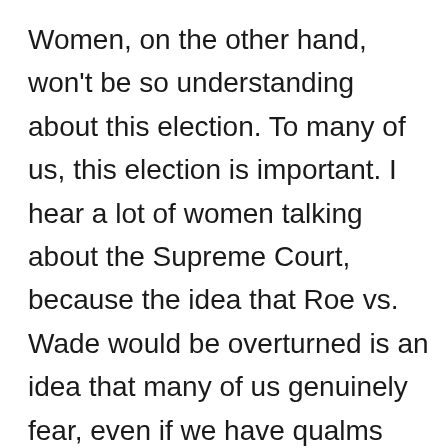Women, on the other hand, won't be so understanding about this election. To many of us, this election is important. I hear a lot of women talking about the Supreme Court, because the idea that Roe vs. Wade would be overturned is an idea that many of us genuinely fear, even if we have qualms about abortion. Our rights are at stake in this election, and we know that "strict constructionist" judges don't support our rights. We hear pro-life types talk about how banning abortion is just a first step to getting rid of birth control pills and other types of birth control methods like IUDs. Now, even if you oppose abortion and think that overturning Roe vs. Wade is a good idea, think about the effect that changing the legal landscape for reproductive rights will have on ability